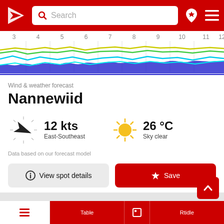[Figure (screenshot): App header with red background, Windy logo (white triangle with arrow), search bar with magnifying glass icon and 'Search' placeholder text, location pin icon with star, and hamburger menu icon]
[Figure (line-chart): Wind and weather forecast chart strip showing time axis (hours 3-12) with colored wavy lines (yellow, green, light blue, dark blue) representing different forecast layers over time]
Wind & weather forecast
Nannewiid
12 kts East-Southeast
26 °C Sky clear
Data based on our forecast model
View spot details
Save
[Figure (screenshot): Gray area representing map or additional content area below the weather info card]
[Figure (screenshot): Red scroll-to-top button with white upward arrow]
Table  Rtidle